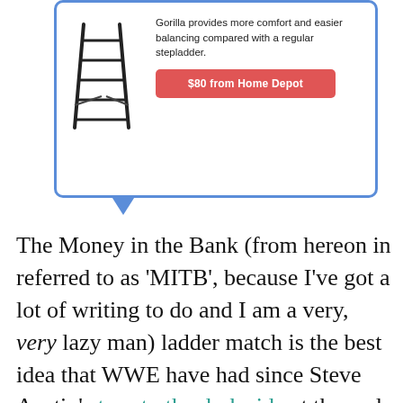[Figure (screenshot): Product recommendation box with blue border showing a ladder image on the left and text describing Gorilla stepladder comfort, plus a red '$80 from Home Depot' button on the right.]
The Money in the Bank (from hereon in referred to as 'MITB', because I've got a lot of writing to do and I am a very, very lazy man) ladder match is the best idea that WWE have had since Steve Austin's turn to the dark side at the end of Wrestlemania 17 in 2001 signalled the end of the Attitude Era and drew the curtain on the last period which wrestling seemed in any way relevant or widely notable. It's arguably the only good idea